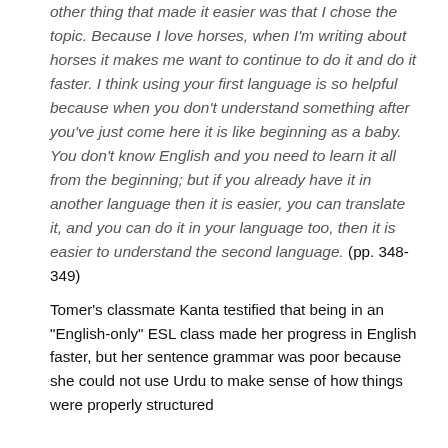other thing that made it easier was that I chose the topic. Because I love horses, when I'm writing about horses it makes me want to continue to do it and do it faster. I think using your first language is so helpful because when you don't understand something after you've just come here it is like beginning as a baby. You don't know English and you need to learn it all from the beginning; but if you already have it in another language then it is easier, you can translate it, and you can do it in your language too, then it is easier to understand the second language. (pp. 348-349)
Tomer's classmate Kanta testified that being in an "English-only" ESL class made her progress in English faster, but her sentence grammar was poor because she could not use Urdu to make sense of how things were properly structured